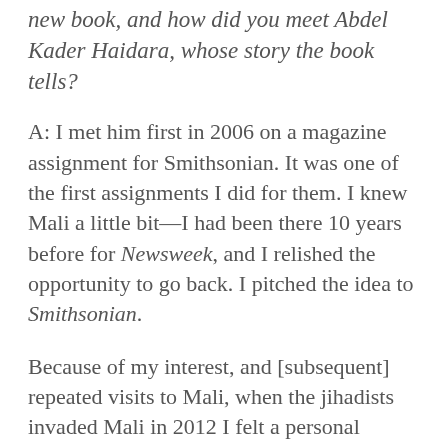new book, and how did you meet Abdel Kader Haidara, whose story the book tells?
A: I met him first in 2006 on a magazine assignment for Smithsonian. It was one of the first assignments I did for them. I knew Mali a little bit—I had been there 10 years before for Newsweek, and I relished the opportunity to go back. I pitched the idea to Smithsonian.
Because of my interest, and [subsequent] repeated visits to Mali, when the jihadists invaded Mali in 2012 I felt a personal connection. I had been to Timbuktu a few times and had quite a relationship with the people. I wondered what would happen to the manuscripts.